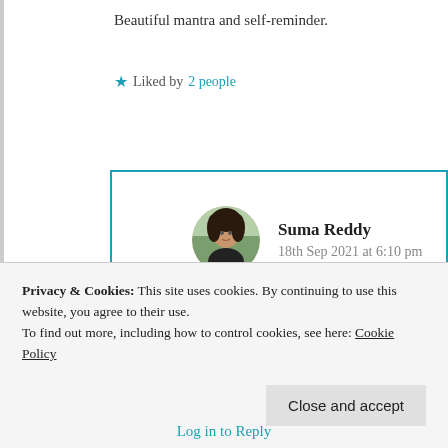Beautiful mantra and self-reminder.
Liked by 2 people
Log in to Reply
Suma Reddy
18th Sep 2021 at 6:10 pm
Glad to read your beautiful comment
Privacy & Cookies: This site uses cookies. By continuing to use this website, you agree to their use.
To find out more, including how to control cookies, see here: Cookie Policy
Close and accept
Log in to Reply